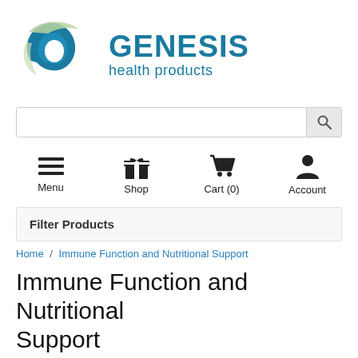[Figure (logo): Genesis Health Products logo with circular blue and green swirl icon and text GENESIS health products in teal/blue]
[Figure (screenshot): Search bar with input field and magnifying glass search button]
[Figure (infographic): Navigation icons: Menu (hamburger), Shop (gift box), Cart (0) (shopping cart), Account (person silhouette)]
Filter Products
Home / Immune Function and Nutritional Support
Immune Function and Nutritional Support